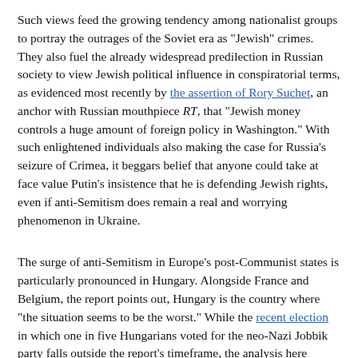Such views feed the growing tendency among nationalist groups to portray the outrages of the Soviet era as "Jewish" crimes. They also fuel the already widespread predilection in Russian society to view Jewish political influence in conspiratorial terms, as evidenced most recently by the assertion of Rory Suchet, an anchor with Russian mouthpiece RT, that "Jewish money controls a huge amount of foreign policy in Washington." With such enlightened individuals also making the case for Russia's seizure of Crimea, it beggars belief that anyone could take at face value Putin's insistence that he is defending Jewish rights, even if anti-Semitism does remain a real and worrying phenomenon in Ukraine.
The surge of anti-Semitism in Europe's post-Communist states is particularly pronounced in Hungary. Alongside France and Belgium, the report points out, Hungary is the country where "the situation seems to be the worst." While the recent election in which one in five Hungarians voted for the neo-Nazi Jobbik party falls outside the report's timeframe, the analysis here contributes a great deal to our understanding of that outcome.
Physical attacks on Hungary's approximately 100,000 Jews are, says the report, still rare. However, the discourse of anti-Semitism has swelled to such an extent that the prominent Hungarian rabbi Shlomo Koves says... [text continues]